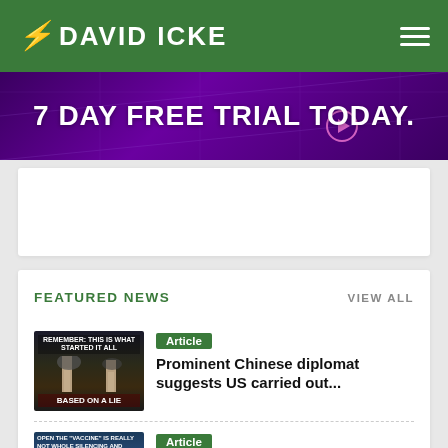DAVID ICKE
[Figure (screenshot): Purple/dark promotional banner with text '7 DAY FREE TRIAL TODAY.' and a play button]
[Figure (other): White advertisement placeholder box]
FEATURED NEWS
VIEW ALL
[Figure (screenshot): Thumbnail image of 9/11 Twin Towers with text 'REMEMBER: THIS IS WHAT STARTED IT ALL' and 'BASED ON A LIE']
Article
Prominent Chinese diplomat suggests US carried out...
[Figure (screenshot): Thumbnail image with text about silencing information]
Article
Rock Singer's Fatal Brain Injury Caused